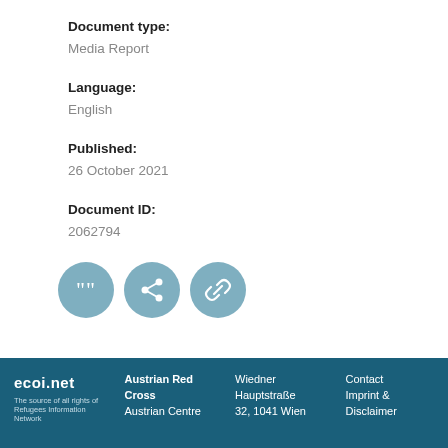Document type: Media Report
Language: English
Published: 26 October 2021
Document ID: 2062794
[Figure (other): Three circular icon buttons: quote/cite icon, share icon, and link icon — all in muted teal/steel blue color]
ecoi.net | Austrian Red Cross | Austrian Centre | Wiedner Hauptstraße 32, 1041 Wien | Contact | Imprint & Disclaimer